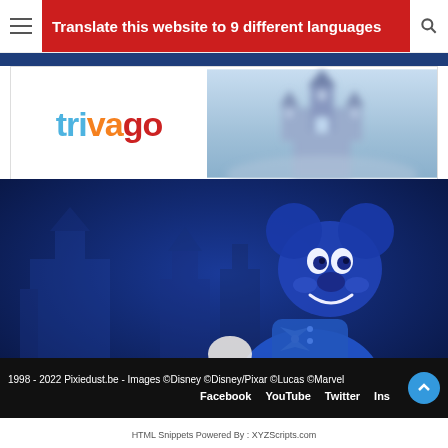Translate this website to 9 different languages
[Figure (logo): trivago logo on white background with blurred Disneyland castle on right side]
[Figure (photo): Large blue-tinted photo of Mickey Mouse character at Disneyland with castle in background]
1998 - 2022 Pixiedust.be - Images ©Disney ©Disney/Pixar ©Lucas ©Marvel
Facebook   YouTube   Twitter   Instagram
HTML Snippets Powered By : XYZScripts.com